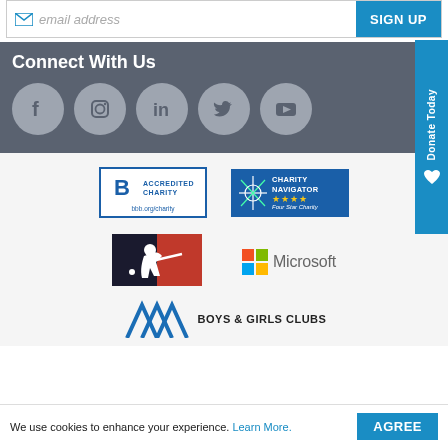[Figure (screenshot): Email address input field with envelope icon and SIGN UP button]
Connect With Us
[Figure (infographic): Five social media icons in grey circles: Facebook, Instagram, LinkedIn, Twitter, YouTube]
[Figure (logo): BBB Accredited Charity badge with bbb.org/charity URL]
[Figure (logo): Charity Navigator Four Star Charity badge]
[Figure (logo): MLB (Major League Baseball) logo]
[Figure (logo): Microsoft logo with Windows grid icon]
[Figure (logo): Boys & Girls Clubs logo with chevron stripes]
We use cookies to enhance your experience. Learn More.